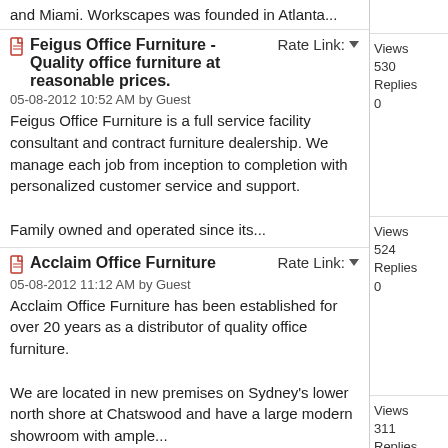and Miami. Workscapes was founded in Atlanta...
Feigus Office Furniture - Quality office furniture at reasonable prices.
05-08-2012 10:52 AM by Guest
Feigus Office Furniture is a full service facility consultant and contract furniture dealership. We manage each job from inception to completion with personalized customer service and support.

Family owned and operated since its...
Acclaim Office Furniture
05-08-2012 11:12 AM by Guest
Acclaim Office Furniture has been established for over 20 years as a distributor of quality office furniture.

We are located in new premises on Sydney's lower north shore at Chatswood and have a large modern showroom with ample...
office furniture executive boardroom desks chairs London, Surrey, South East
05-08-2012 02:05 PM by Guest